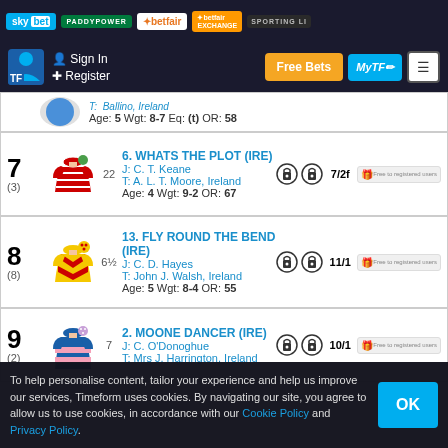sky bet | PADDYPOWER | betfair | betfair EXCHANGE | SPORTING LI...
Sign In | Register | Free Bets | MyTF | Menu
Age: 5 Wgt: 8-7 Eq: (t) OR: 58
6. WHATS THE PLOT (IRE) — J: C. T. Keane, T: A. L. T. Moore, Ireland — Age: 4 Wgt: 9-2 OR: 67 — 7/2f — 7 (3) 22
13. FLY ROUND THE BEND (IRE) — J: C. D. Hayes, T: John J. Walsh, Ireland — Age: 5 Wgt: 8-4 OR: 55 — 11/1 — 8 (8) 6½
2. MOONE DANCER (IRE) — J: C. O'Donoghue, T: Mrs J. Harrington, Ireland — 10/1 — 9 (2) 7
To help personalise content, tailor your experience and help us improve our services, Timeform uses cookies. By navigating our site, you agree to allow us to use cookies, in accordance with our Cookie Policy and Privacy Policy.